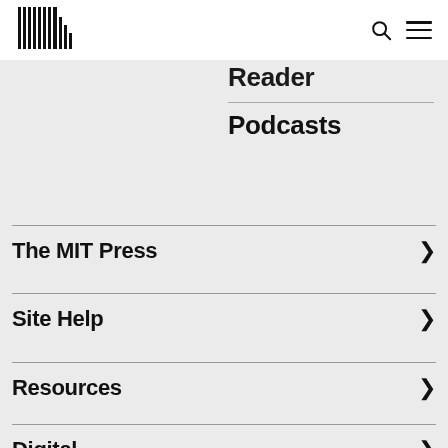[Figure (logo): MIT Press logo — vertical barcode-style lines forming a stylized figure]
Reader
Podcasts
The MIT Press
Site Help
Resources
Digital
US
UK